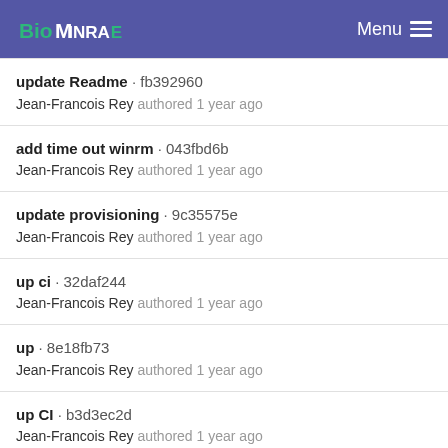INRAE · Menu
update Readme · fb392960
Jean-Francois Rey authored 1 year ago
add time out winrm · 043fbd6b
Jean-Francois Rey authored 1 year ago
update provisioning · 9c35575e
Jean-Francois Rey authored 1 year ago
up ci · 32daf244
Jean-Francois Rey authored 1 year ago
up · 8e18fb73
Jean-Francois Rey authored 1 year ago
up CI · b3d3ec2d
Jean-Francois Rey authored 1 year ago
Mentions Légales et CGU